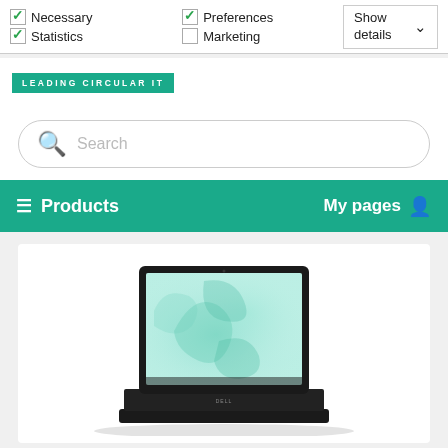[Figure (screenshot): Cookie consent bar with checkboxes for Necessary (checked), Statistics (checked), Preferences (checked), Marketing (unchecked), and a Show details dropdown button]
[Figure (logo): Leading Circular IT logo badge in teal]
[Figure (screenshot): Search bar with magnifying glass icon and placeholder text 'Search']
☰ Products    My pages 👤
[Figure (photo): Dell laptop product photo with teal/green abstract wallpaper on screen, shown in product card]